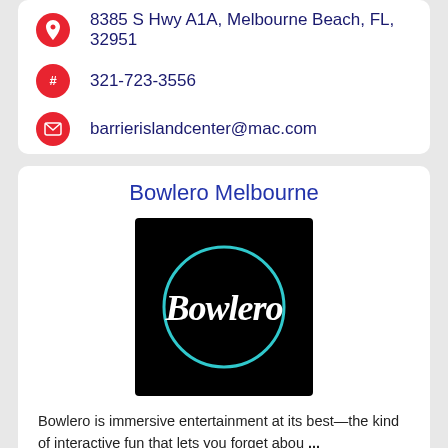8385 S Hwy A1A, Melbourne Beach, FL, 32951
321-723-3556
barrierislandcenter@mac.com
Bowlero Melbourne
[Figure (logo): Bowlero logo: white cursive 'Bowlero' script with teal circle outline on black background]
Bowlero is immersive entertainment at its best—the kind of interactive fun that lets you forget abou ...
Learn more! →